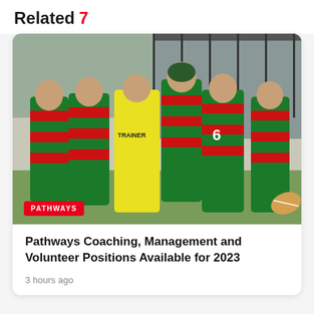Related 7
[Figure (photo): Rugby league players in green and red striped jerseys huddled together during a match, with a trainer in a yellow shirt labeled TRAINER in the center of the group. A player wearing number 6 is visible from behind. The scene is outdoors with a fence and building in the background.]
PATHWAYS
Pathways Coaching, Management and Volunteer Positions Available for 2023
3 hours ago